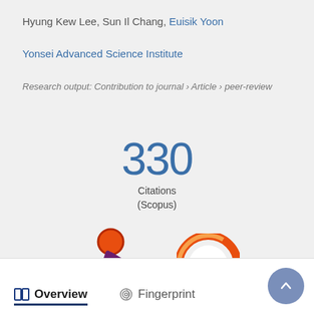Hyung Kew Lee, Sun Il Chang, Euisik Yoon
Yonsei Advanced Science Institute
Research output: Contribution to journal › Article › peer-review
330
Citations
(Scopus)
[Figure (logo): Altmetric logo (colorful asterisk-like symbol with orange circle, purple circle, and green dot) and Altmetric donut chart showing score 9 in orange ring]
Overview
Fingerprint